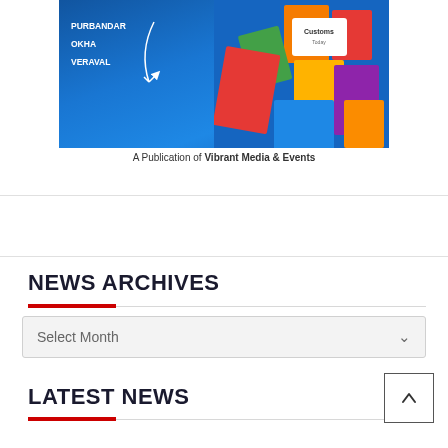[Figure (illustration): Colorful publication cover image with map outline showing PURBANDAR, OKHA, VERAVAL labels and geometric colored shape collage on blue background]
A Publication of Vibrant Media & Events
NEWS ARCHIVES
Select Month
LATEST NEWS